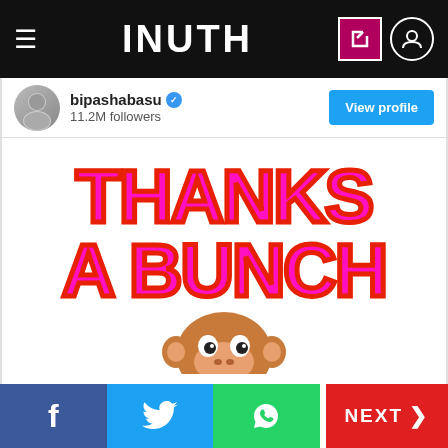INUTH
bipashabasu
11.2M followers
View profile
[Figure (screenshot): Instagram post showing 'THANKS A BUNCH' text in large bold pink letters with red outline, followed by a monkey emoji peeking up from the bottom]
f  [twitter bird]  [whatsapp]  NEXT >